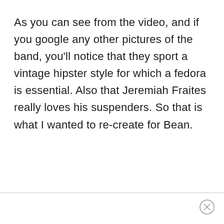As you can see from the video, and if you google any other pictures of the band, you'll notice that they sport a vintage hipster style for which a fedora is essential. Also that Jeremiah Fraites really loves his suspenders. So that is what I wanted to re-create for Bean.